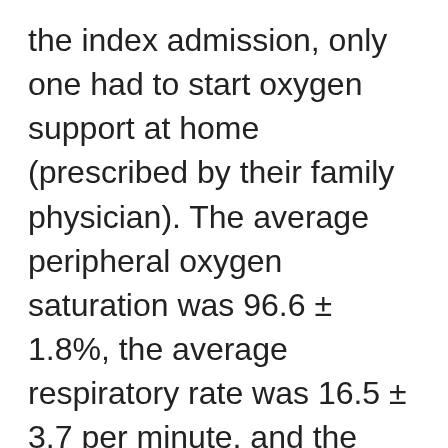the index admission, only one had to start oxygen support at home (prescribed by their family physician). The average peripheral oxygen saturation was 96.6 ± 1.8%, the average respiratory rate was 16.5 ± 3.7 per minute, and the mean PaO₂/FiO₂ ratio was 375.3 ± 55.1. Notably, most of the patients were receiving a prophylactio